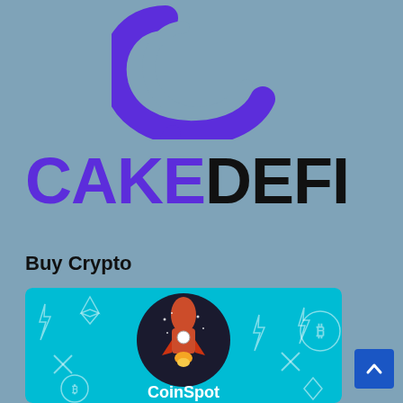[Figure (logo): Cake DeFi logo icon — a stylized blue-purple circular shape resembling a smiling face or abstract C shape]
CAKEDEFI
Buy Crypto
[Figure (illustration): CoinSpot promotional banner with light blue background, a dark circular badge with a rocket ship illustration, crypto currency icons (Bitcoin, Ethereum, XRP, lightning bolts) as watermarks, and 'CoinSpot' text at bottom]
[Figure (other): Blue scroll-to-top button with upward chevron arrow]